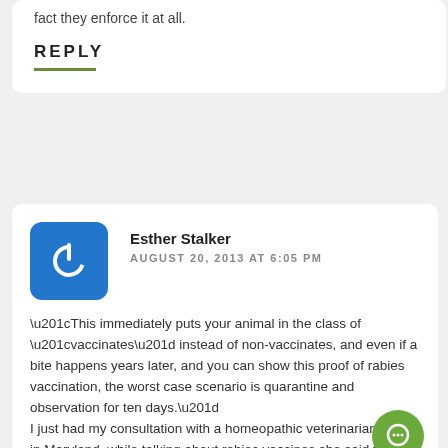fact they enforce it at all.
REPLY
Esther Stalker
AUGUST 20, 2013 AT 6:05 PM
“This immediately puts your animal in the class of “vaccinates” instead of non-vaccinates, and even if a bite happens years later, and you can show this proof of rabies vaccination, the worst case scenario is quarantine and observation for ten days.”
I just had my consultation with a homeopathic veterinarian here in Maryland, while talking about rabies vaccines she said that the Law here in Howard County, Maryland was if the